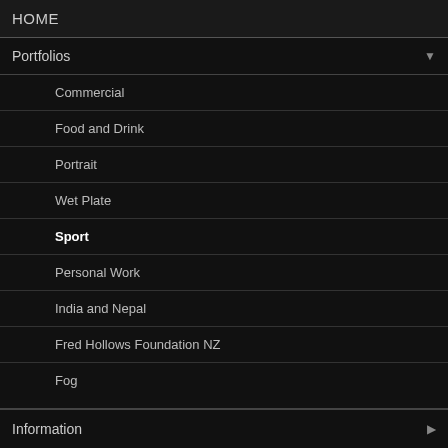HOME
Portfolios
Commercial
Food and Drink
Portrait
Wet Plate
Sport
Personal Work
India and Nepal
Fred Hollows Foundation NZ
Fog
Information
Follow me
Share
© Michael Bradley. FolioLink © Kodexio ™ 2022